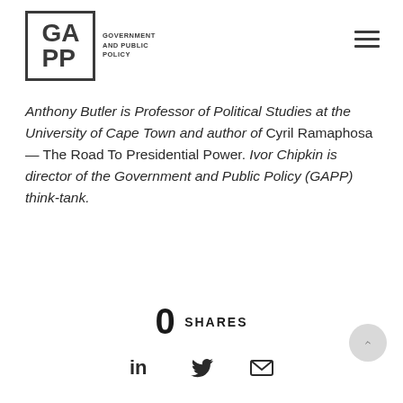[Figure (logo): GAPP Government and Public Policy logo — bold GA/PP letters inside a square border, with text 'GOVERNMENT AND PUBLIC POLICY' to the right]
Anthony Butler is Professor of Political Studies at the University of Cape Town and author of Cyril Ramaphosa — The Road To Presidential Power. Ivor Chipkin is director of the Government and Public Policy (GAPP) think-tank.
0 SHARES
[Figure (infographic): Social share icons: LinkedIn, Twitter, Email]